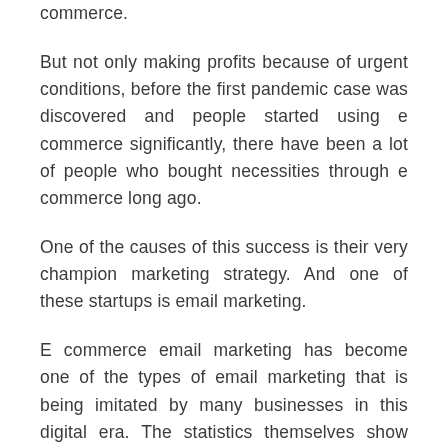commerce.
But not only making profits because of urgent conditions, before the first pandemic case was discovered and people started using e commerce significantly, there have been a lot of people who bought necessities through e commerce long ago.
One of the causes of this success is their very champion marketing strategy. And one of these startups is email marketing.
E commerce email marketing has become one of the types of email marketing that is being imitated by many businesses in this digital era. The statistics themselves show that email